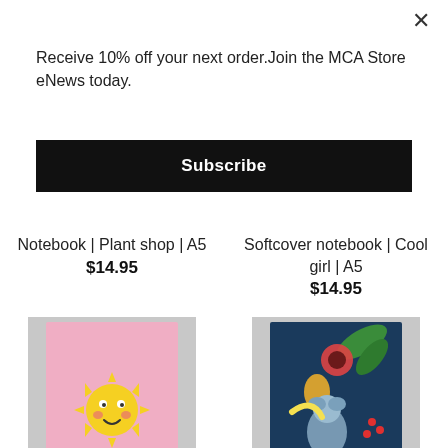Receive 10% off your next order.Join the MCA Store eNews today.
Subscribe
Notebook | Plant shop | A5
$14.95
Softcover notebook | Cool girl | A5
$14.95
[Figure (photo): Pink notebook with a smiling cartoon sun on the cover]
Notebook | Sun
[Figure (photo): Dark blue notebook with colorful tropical fruits, koala, and leaves on the cover]
Notebook | Koala